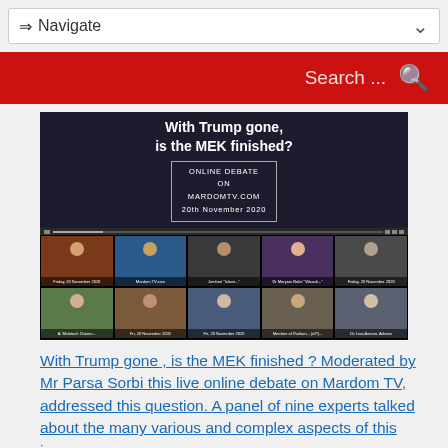⇒ Navigate
Search ...
[Figure (screenshot): Online video debate thumbnail: 'With Trump gone, is the MEK finished?' ONLINE DEBATE ON MARDOMTV.COM 20th November 2020. Grid of 10 participant video thumbnails showing panelists.]
With Trump gone , is the MEK finished ? Moderated by Mr Parsa Sorbi this live online debate on Mardom TV, addressed this question. A panel of nine experts talked about the many various and complex aspects of this issue